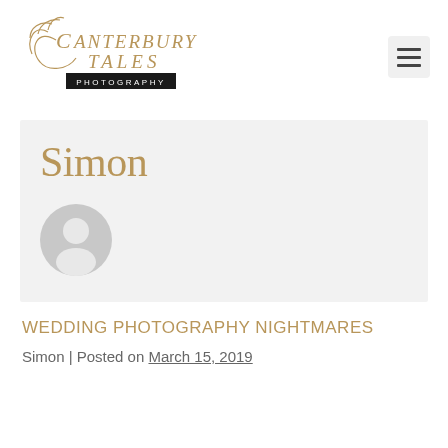[Figure (logo): Canterbury Tales Photography logo in gold/brown script lettering with 'PHOTOGRAPHY' in a black box beneath]
Simon
[Figure (illustration): Generic grey user avatar silhouette icon]
WEDDING PHOTOGRAPHY NIGHTMARES
Simon | Posted on March 15, 2019